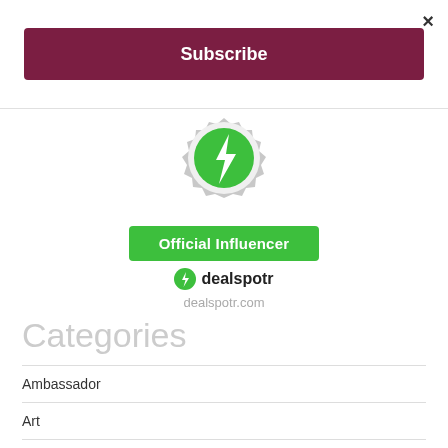×
Subscribe
[Figure (logo): Dealspotr Official Influencer badge: gear-shaped badge with green circle and lightning bolt icon, green 'Official Influencer' button below, dealspotr logo and dealspotr.com URL]
Categories
Ambassador
Art